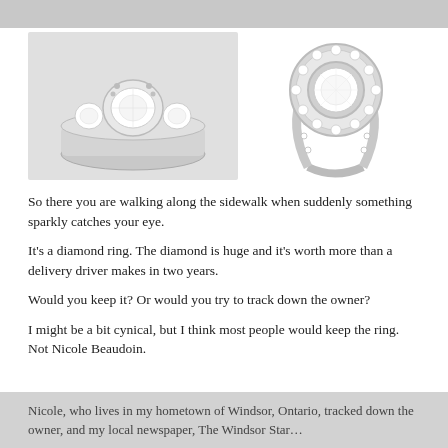[Figure (photo): Top strip showing partial images of two diamond rings — left and right halves cropped]
[Figure (photo): Left ring: a three-stone diamond engagement ring in white gold with a large oval center diamond flanked by two smaller round diamonds, photographed close-up on a light gray background]
[Figure (photo): Right ring: a halo-style diamond engagement ring in white gold with a round center diamond surrounded by a halo of small diamonds and a pavé-set band, photographed close-up on white background]
So there you are walking along the sidewalk when suddenly something sparkly catches your eye.
It's a diamond ring. The diamond is huge and it's worth more than a delivery driver makes in two years.
Would you keep it? Or would you try to track down the owner?
I might be a bit cynical, but I think most people would keep the ring. Not Nicole Beaudoin.
Nicole, who lives in my hometown of Windsor, Ontario, tracked down the owner, and my local newspaper, The Windsor Star…